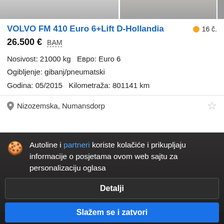[Figure (photo): Partial view of two truck/vehicle listing images cropped at top]
VOLVO FM 410 Euro 6+Lift D-Hollandia
16 č.
26.500 €  BAM
Nosivost: 21000 kg   Евро: Euro 6
Ogibljenje: gibanj/pneumatski
Godina: 05/2015   Kilometraža: 801141 km
Nizozemska, Numansdorp
Autoline i partneri koriste kolačiće i prikupljaju informacije o posjetama ovom web sajtu za personalizaciju oglasa
Detalji
Slažem se i zatvori
VOLVO FE FE290/18 EURO6 Bouwjaar met 1...